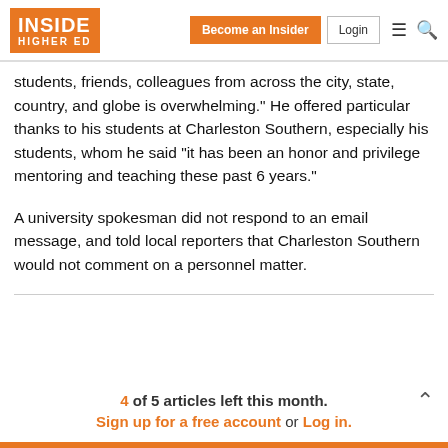Inside Higher Ed — Become an Insider | Login
students, friends, colleagues from across the city, state, country, and globe is overwhelming." He offered particular thanks to his students at Charleston Southern, especially his students, whom he said "it has been an honor and privilege mentoring and teaching these past 6 years."
A university spokesman did not respond to an email message, and told local reporters that Charleston Southern would not comment on a personnel matter.
4 of 5 articles left this month.
Sign up for a free account or Log in.